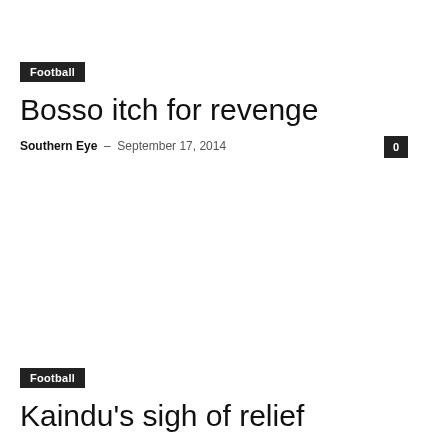Football
Bosso itch for revenge
Southern Eye – September 17, 2014
Football
Kaindu's sigh of relief